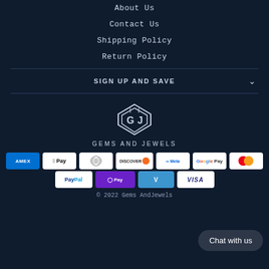About Us
Contact Us
Shipping Policy
Return Policy
SIGN UP AND SAVE
[Figure (logo): Gems and Jewels diamond logo with GJ monogram]
GEMS AND JEWELS
[Figure (infographic): Payment method icons: Amex, Apple Pay, Diners Club, Discover, Meta Pay, Google Pay, Mastercard, PayPal, OPay, Venmo, Visa]
[Figure (other): Chat with us button]
© 2022 Gems AndJewels